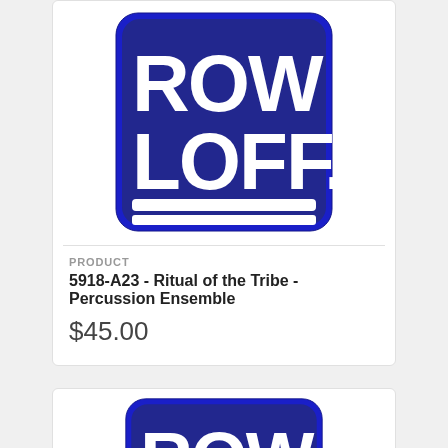[Figure (logo): Row-Loff Productions logo: dark blue rounded square with white bold text 'ROW' on top line and 'LOFF.' on second line, with two horizontal white bars at bottom]
PRODUCT
5918-A23 - Ritual of the Tribe - Percussion Ensemble
$45.00
[Figure (logo): Row-Loff Productions logo (partial, cropped): dark blue rounded square with white bold text 'ROW' visible, lower portion cut off]